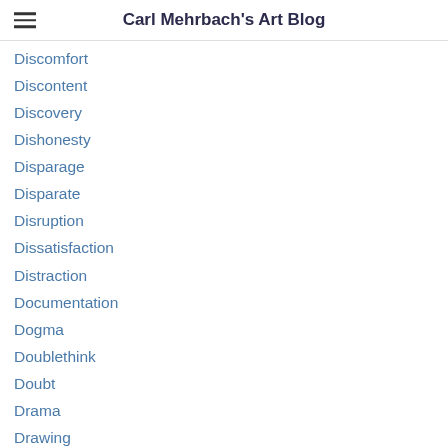Carl Mehrbach's Art Blog
Discomfort
Discontent
Discovery
Dishonesty
Disparage
Disparate
Disruption
Dissatisfaction
Distraction
Documentation
Dogma
Doublethink
Doubt
Drama
Drawing
Drawings
Dream
Dreaming